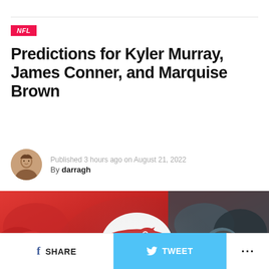NFL
Predictions for Kyler Murray, James Conner, and Marquise Brown
Published 3 hours ago on August 21, 2022
By darragh
[Figure (photo): Arizona Cardinals football player in red uniform and white helmet with Cardinals logo, action shot during a game]
SHARE   TWEET   ...